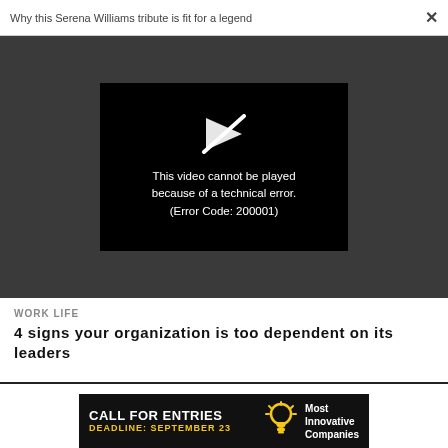Why this Serena Williams tribute is fit for a legend   ×
[Figure (screenshot): Video player error screen on dark grey background. Black rectangle with white broken play icon and white text: 'This video cannot be played because of a technical error. (Error Code: 200001)']
WORK LIFE
4 signs your organization is too dependent on its leaders
Advertise | Privacy Policy | Terms |
[Figure (infographic): Black advertisement banner: 'CALL FOR ENTRIES' in bold white, 'DEADLINE: SEPTEMBER 23' in yellow, light bulb icon, 'Most Innovative Companies' in white bold text on right.]